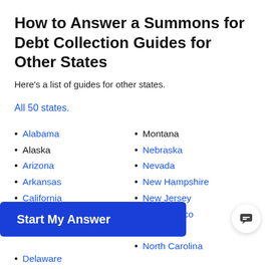How to Answer a Summons for Debt Collection Guides for Other States
Here's a list of guides for other states.
All 50 states.
Alabama
Alaska
Arizona
Arkansas
California
Delaware
Montana
Nebraska
Nevada
New Hampshire
New Jersey
New Mexico
New York
North Carolina